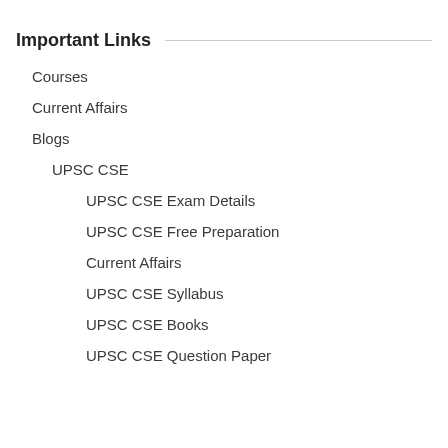Important Links
Courses
Current Affairs
Blogs
UPSC CSE
UPSC CSE Exam Details
UPSC CSE Free Preparation
Current Affairs
UPSC CSE Syllabus
UPSC CSE Books
UPSC CSE Question Paper